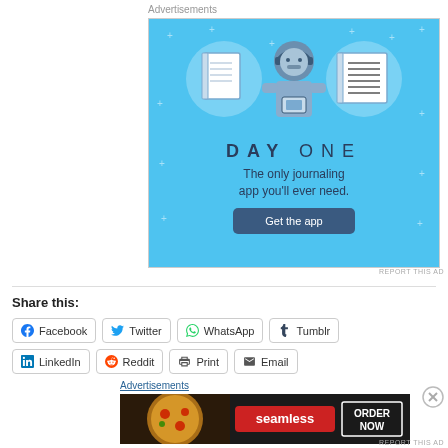Advertisements
[Figure (illustration): Day One journaling app advertisement. Blue background with illustrated person holding a phone, two notebook icons in circles, text 'DAY ONE', tagline 'The only journaling app you'll ever need.', and a 'Get the app' button.]
REPORT THIS AD
Share this:
Facebook  Twitter  WhatsApp  Tumblr
LinkedIn  Reddit  Print  Email
Advertisements
[Figure (illustration): Seamless food delivery advertisement. Dark background with pizza image on left, red Seamless logo in center, 'ORDER NOW' button on right.]
REPORT THIS AD